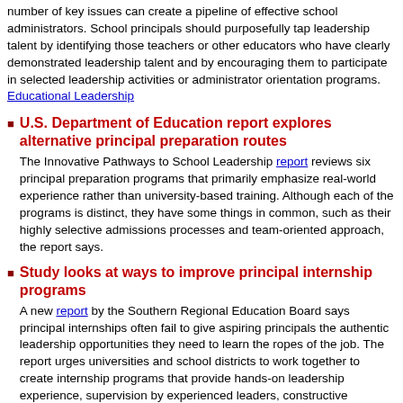number of key issues can create a pipeline of effective school administrators. School principals should purposefully tap leadership talent by identifying those teachers or other educators who have clearly demonstrated leadership talent and by encouraging them to participate in selected leadership activities or administrator orientation programs. Educational Leadership
U.S. Department of Education report explores alternative principal preparation routes — The Innovative Pathways to School Leadership report reviews six principal preparation programs that primarily emphasize real-world experience rather than university-based training. Although each of the programs is distinct, they have some things in common, such as their highly selective admissions processes and team-oriented approach, the report says.
Study looks at ways to improve principal internship programs — A new report by the Southern Regional Education Board says principal internships often fail to give aspiring principals the authentic leadership opportunities they need to learn the ropes of the job. The report urges universities and school districts to work together to create internship programs that provide hands-on leadership experience, supervision by experienced leaders, constructive feedback and rigorous performance evaluations.
Trial By Fire — Elizabeth Chase Morrison reflects straightforwardly on the "trial by fire" of her first year as assistant principal at a K-8 school in Ohio. She found few of the courses she took while pursuing a master's degree in educational administration truly prepared her for experiences like